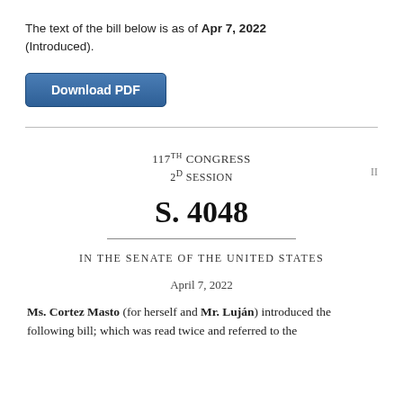The text of the bill below is as of Apr 7, 2022 (Introduced).
[Figure (other): Download PDF button — a blue rectangular button with white bold text reading 'Download PDF']
II
117TH CONGRESS
2D SESSION
S. 4048
IN THE SENATE OF THE UNITED STATES
April 7, 2022
Ms. Cortez Masto (for herself and Mr. Luján) introduced the following bill; which was read twice and referred to the